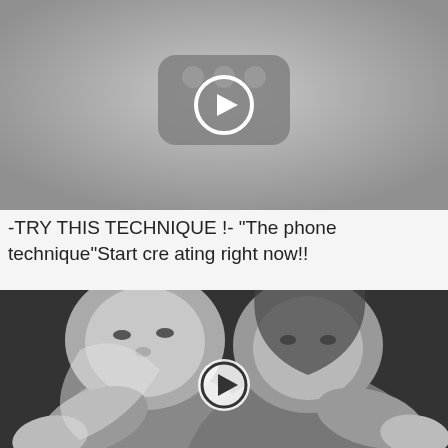[Figure (screenshot): A YouTube-like video thumbnail showing a play button icon centered on a gray background]
-TRY THIS TECHNIQUE !- “The phone technique”Start creating right now!!
[Figure (photo): Black and white photo of two men pointing toward the camera with a play button overlay in the center]